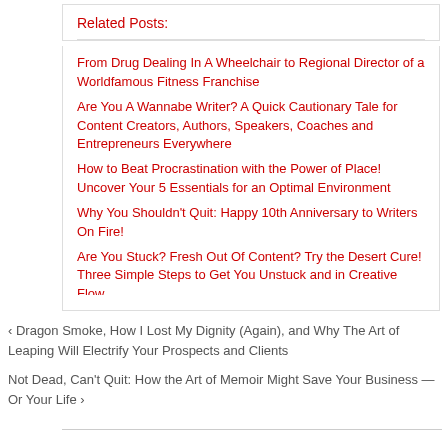Related Posts:
From Drug Dealing In A Wheelchair to Regional Director of a Worldfamous Fitness Franchise
Are You A Wannabe Writer? A Quick Cautionary Tale for Content Creators, Authors, Speakers, Coaches and Entrepreneurs Everywhere
How to Beat Procrastination with the Power of Place! Uncover Your 5 Essentials for an Optimal Environment
Why You Shouldn't Quit: Happy 10th Anniversary to Writers On Fire!
Are You Stuck? Fresh Out Of Content? Try the Desert Cure! Three Simple Steps to Get You Unstuck and in Creative Flow
‹ Dragon Smoke, How I Lost My Dignity (Again), and Why The Art of Leaping Will Electrify Your Prospects and Clients
Not Dead, Can't Quit: How the Art of Memoir Might Save Your Business — Or Your Life ›